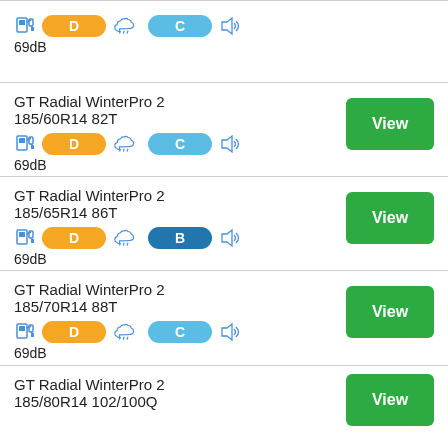69dB (partial row top)
GT Radial WinterPro 2 185/60R14 82T, D, C, 69dB
GT Radial WinterPro 2 185/65R14 86T, D, B, 69dB
GT Radial WinterPro 2 185/70R14 88T, D, C, 69dB
GT Radial WinterPro 2 185/80R14 102/100Q